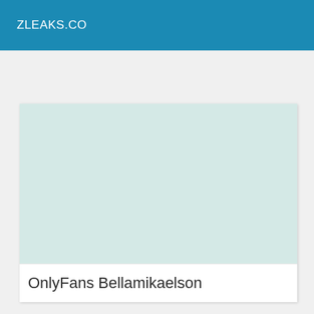ZLEAKS.CO
[Figure (other): Placeholder image with light mint/teal background color representing blurred or hidden content]
OnlyFans Bellamikaelson